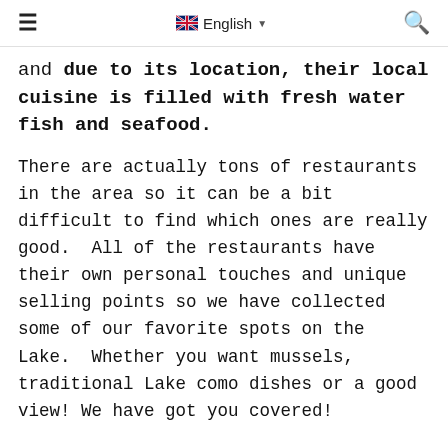≡  🇬🇧 English ▾  🔍
and due to its location, their local cuisine is filled with fresh water fish and seafood.
There are actually tons of restaurants in the area so it can be a bit difficult to find which ones are really good.  All of the restaurants have their own personal touches and unique selling points so we have collected some of our favorite spots on the Lake.  Whether you want mussels, traditional Lake como dishes or a good view! We have got you covered!